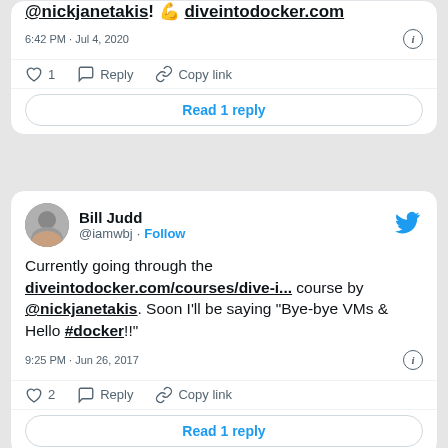[Figure (screenshot): Partial tweet card at top showing text with @nickjanetakis and diveintodocker.com link, timestamp 6:42 PM · Jul 4, 2020, heart/reply/copy link actions, and Read 1 reply button]
[Figure (screenshot): Full tweet card by Bill Judd @iamwbj with Follow button and Twitter bird logo. Tweet text: Currently going through the diveintodocker.com/courses/dive-i... course by @nickjanetakis. Soon I'll be saying "Bye-bye VMs & Hello #docker!!". Timestamp 9:25 PM · Jun 26, 2017. 2 likes, Reply, Copy link actions, Read 1 reply button.]